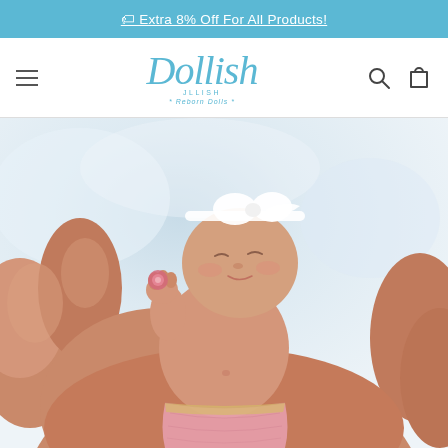🏷 Extra 8% Off For All Products!
[Figure (logo): Dollish brand logo with cursive script text and tagline 'Reborn Dolls']
[Figure (photo): A small realistic reborn baby doll being held in adult hands. The doll has a white bow headband, closed eyes, and is wearing a pink crocheted outfit. The background is soft blue-white bokeh.]